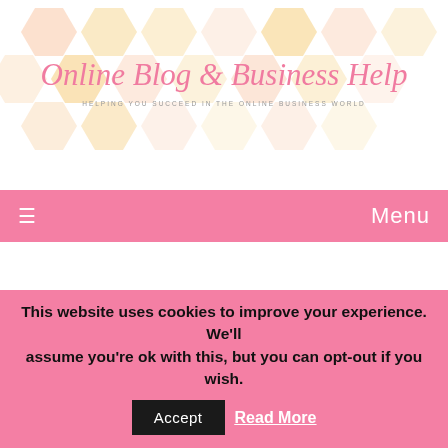[Figure (illustration): Website header with honeycomb hexagon pattern background in pastel pink, orange, yellow tones with brand logo text]
Online Blog & Business Help
HELPING YOU SUCCEED IN THE ONLINE BUSINESS WORLD
≡  Menu
[Figure (photo): Woman standing at desk working on a laptop, wearing a blush top and jeans, blurred office background with plants]
This website uses cookies to improve your experience. We'll assume you're ok with this, but you can opt-out if you wish.
Accept  Read More